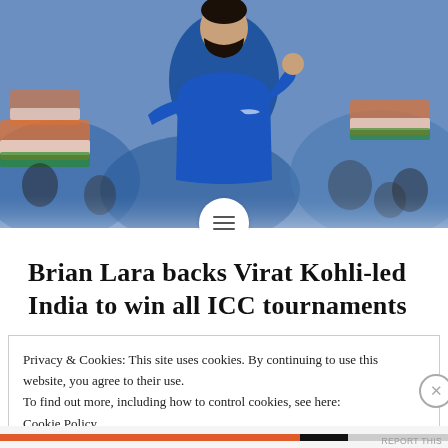[Figure (photo): Virat Kohli in blue India cricket jersey with raised fist, crowd with Indian tricolor flags in background]
Brian Lara backs Virat Kohli-led India to win all ICC tournaments
Privacy & Cookies: This site uses cookies. By continuing to use this website, you agree to their use.
To find out more, including how to control cookies, see here:
Cookie Policy
Close and accept